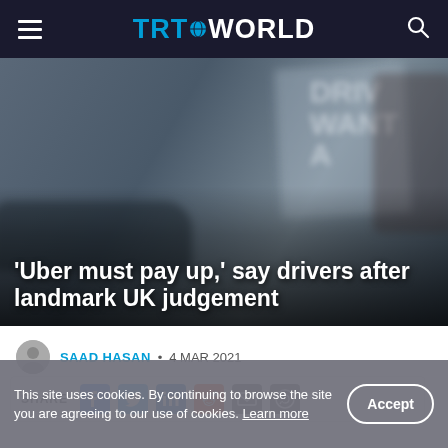TRT WORLD
[Figure (photo): Blurred photo of a person holding a protest sign reading 'DRIVERS WANT ...' with cars in the background]
'Uber must pay up,' say drivers after landmark UK judgement
SAAD HASAN • 4 MAR 2021
SHARE
This site uses cookies. By continuing to browse the site you are agreeing to our use of cookies. Learn more